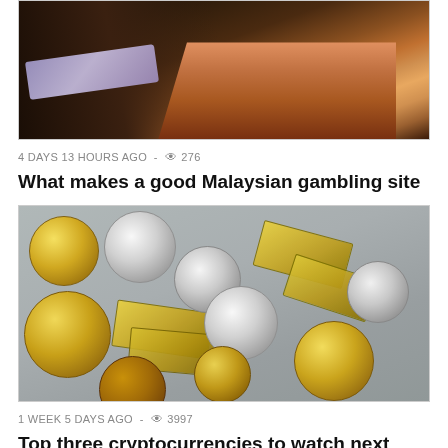[Figure (photo): Photo of a hand holding what appears to be a credit or casino card over a dark surface]
4 DAYS 13 HOURS AGO - 👁 276
What makes a good Malaysian gambling site
[Figure (photo): Photo of various cryptocurrency physical coins — gold and silver colored — and gold bars scattered on a gray striped surface. Coins appear to be Bitcoin, Ethereum, and Dogecoin themed.]
1 WEEK 5 DAYS AGO - 👁 3997
Top three cryptocurrencies to watch next week